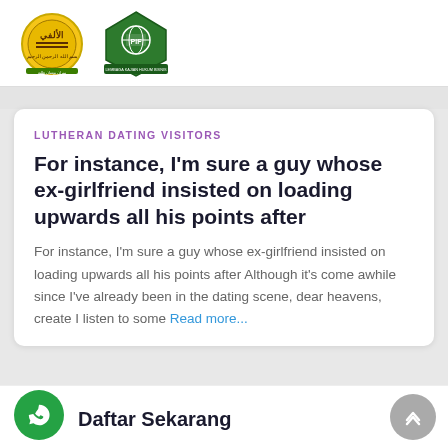[Figure (logo): Two organizational logos side by side: a circular yellow/gold logo with Arabic text and a green logo with a globe and book motif]
LUTHERAN DATING VISITORS
For instance, I’m sure a guy whose ex-girlfriend insisted on loading upwards all his points after
For instance, I’m sure a guy whose ex-girlfriend insisted on loading upwards all his points after Although it’s come awhile since I’ve already been in the dating scene, dear heavens, create I listen to some Read more...
Daftar Sekarang